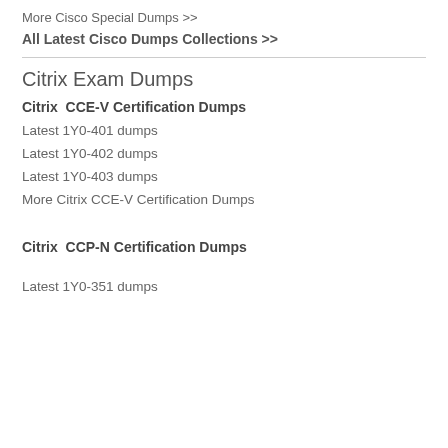More Cisco Special Dumps >>
All Latest Cisco Dumps Collections >>
Citrix Exam Dumps
Citrix  CCE-V Certification Dumps
Latest 1Y0-401 dumps
Latest 1Y0-402 dumps
Latest 1Y0-403 dumps
More Citrix CCE-V Certification Dumps
Citrix  CCP-N Certification Dumps
Latest 1Y0-351 dumps